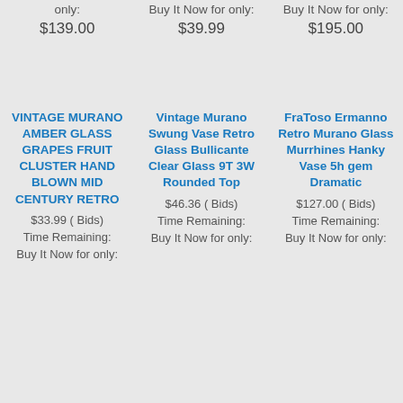only: $139.00
Buy It Now for only: $39.99
Buy It Now for only: $195.00
VINTAGE MURANO AMBER GLASS GRAPES FRUIT CLUSTER HAND BLOWN MID CENTURY RETRO
Vintage Murano Swung Vase Retro Glass Bullicante Clear Glass 9T 3W Rounded Top
FraToso Ermanno Retro Murano Glass Murrhines Hanky Vase 5h gem Dramatic
$33.99 (  Bids)
Time Remaining:
Buy It Now for only:
$46.36 (  Bids)
Time Remaining:
Buy It Now for only:
$127.00 (  Bids)
Time Remaining:
Buy It Now for only: